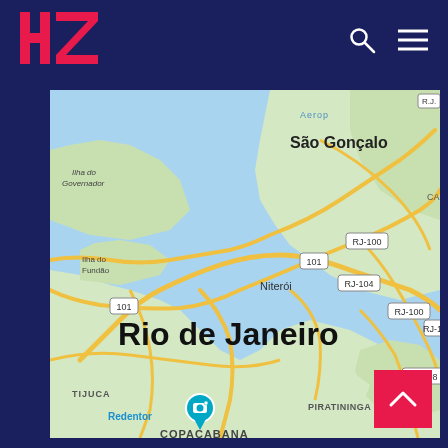[Figure (logo): HZ logo in pink/red bold letters on dark navy background]
[Figure (map): Google Maps screenshot showing Rio de Janeiro, Niterói, São Gonçalo, Ilha do Governador, Ilha do Fundão, Copacabana, Ipanema, Tijuca, Piratininga, Itaipu regions with road labels RJ-100, RJ-104, RJ-108, 101 and a location pin marker near Redentor/Tijuca area]